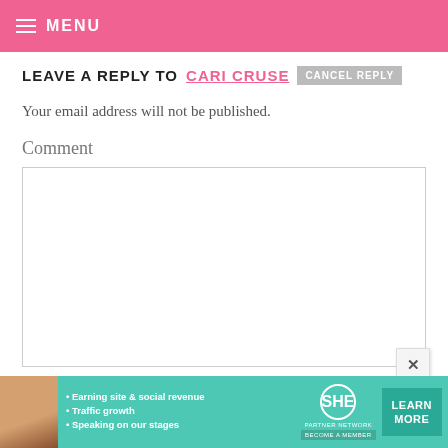MENU
LEAVE A REPLY TO CARI CRUSE  CANCEL REPLY
Your email address will not be published.
Comment
[Figure (screenshot): Empty comment text area input box with resize handle]
[Figure (infographic): SHE Partner Network advertisement banner with photo, bullet points: Earning site & social revenue, Traffic growth, Speaking on our stages, SHE logo, LEARN MORE button, BECOME A MEMBER]